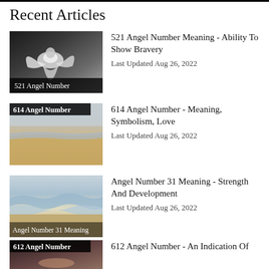Recent Articles
521 Angel Number Meaning - Ability To Show Bravery
Last Updated Aug 26, 2022
614 Angel Number - Meaning, Symbolism, Love
Last Updated Aug 26, 2022
Angel Number 31 Meaning - Strength And Development
Last Updated Aug 26, 2022
612 Angel Number - An Indication Of